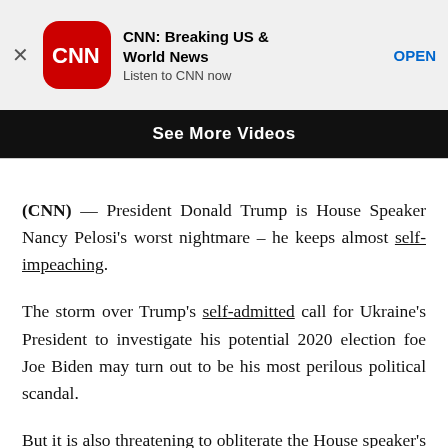[Figure (screenshot): CNN app banner with close button (X), CNN red rounded square logo, app name 'CNN: Breaking US & World News', subtitle 'Listen to CNN now', and blue 'OPEN' button]
[Figure (screenshot): Black button bar with white bold text 'See More Videos']
(CNN) — President Donald Trump is House Speaker Nancy Pelosi's worst nightmare – he keeps almost self-impeaching.
The storm over Trump's self-admitted call for Ukraine's President to investigate his potential 2020 election foe Joe Biden may turn out to be his most perilous political scandal.
But it is also threatening to obliterate the House speaker's fragile political perch atop her caucus, a majority of which rejects her reluctance to open